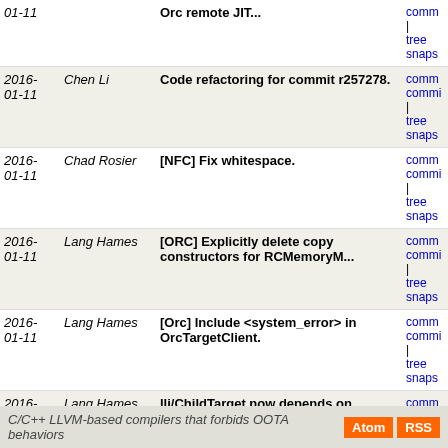| Date | Author | Commit Message | Links |
| --- | --- | --- | --- |
| 2016-01-11 |  | Orc remote JIT... | comm | tree | snaps |
| 2016-01-11 | Chen Li | Code refactoring for commit r257278. | comm commi | tree | snaps |
| 2016-01-11 | Chad Rosier | [NFC] Fix whitespace. | comm commi | tree | snaps |
| 2016-01-11 | Lang Hames | [ORC] Explicitly delete copy constructors for RCMemoryM... | comm commi | tree | snaps |
| 2016-01-11 | Lang Hames | [Orc] Include <system_error> in OrcTargetClient. | comm commi | tree | snaps |
| 2016-01-11 | Lang Hames | lli/ChildTarget now depends on OrcJIT. Add that compone... | comm commi | tree | snaps |
| 2016-01-11 | Lang Hames | Remove the remote-JIT small code model tests for now... | comm commi | tree | snaps |
| 2016-01-11 | Lang Hames | [Orc] More explicit move construction/assignment to... | comm commi | tree | snaps |
| 2016-01-11 | Lang Hames | XFAIL the remote small code model tests on x86. Small... | comm commi | tree | snaps |
next
C/C++ LLVM-based compilers that forbids OOTA behaviors